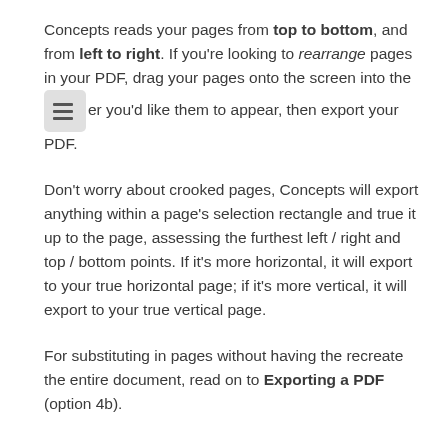Concepts reads your pages from top to bottom, and from left to right. If you're looking to rearrange pages in your PDF, drag your pages onto the screen into the [icon] er you'd like them to appear, then export your PDF.
Don't worry about crooked pages, Concepts will export anything within a page's selection rectangle and true it up to the page, assessing the furthest left / right and top / bottom points. If it's more horizontal, it will export to your true horizontal page; if it's more vertical, it will export to your true vertical page.
For substituting in pages without having the recreate the entire document, read on to Exporting a PDF (option 4b).